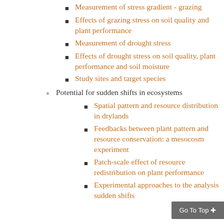Measurement of stress gradient - grazing
Effects of grazing stress on soil quality and plant performance
Measurement of drought stress
Effects of drought stress on soil quality, plant performance and soil moisture
Study sites and target species
Potential for sudden shifts in ecosystems
Spatial pattern and resource distribution in drylands
Feedbacks between plant pattern and resource conservation: a mesocosm experiment
Patch-scale effect of resource redistribution on plant performance
Experimental approaches to the analysis sudden shifts